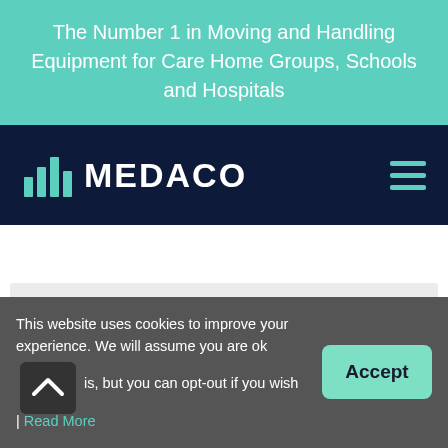The Number 1 in Moving and Handling Equipment for Care Home Groups, Schools and Hospitals
[Figure (logo): Medaco logo with bar-chart icon and MEDACO text in white on dark navy background, with hamburger menu icon on the right]
This website uses cookies to improve your experience. We will assume you are ok with this, but you can opt-out if you wish | Read More